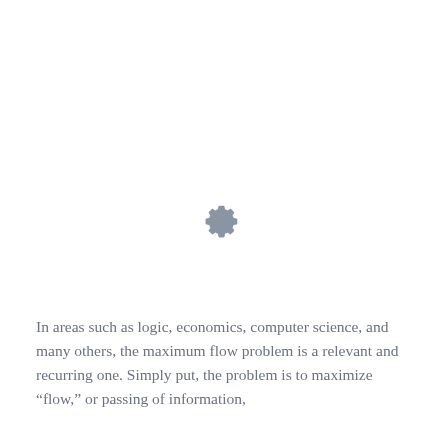[Figure (illustration): A gray gear/settings icon centered on the upper portion of the page]
In areas such as logic, economics, computer science, and many others, the maximum flow problem is a relevant and recurring one. Simply put, the problem is to maximize “flow,” or passing of information,